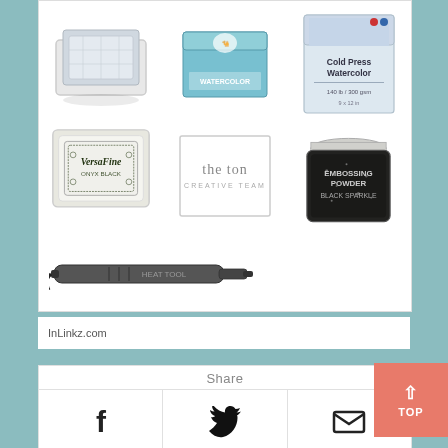[Figure (photo): Product grid showing crafting supplies: row 1 - clear stamp/acrylic block set, watercolor paper pack (blue), cold press watercolor paper. Row 2 - VersaFine ink pad (black), The Ton stamp set (white box with text), Embossing Powder Black Sparkle jar. Row 3 - heat embossing tool/gun (black).]
InLinkz.com
Share